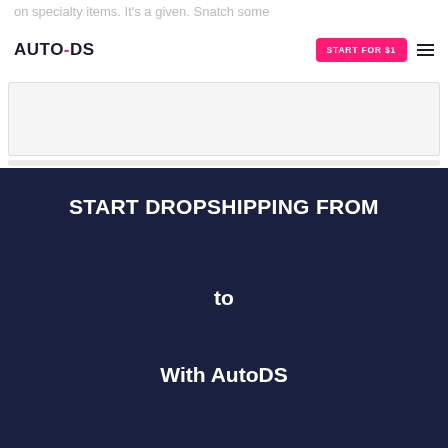AUTO-DS | START FOR $1
on specialty items. It's a given. Snatch some deals and you'll be making some good bucks.
[Figure (screenshot): Partial card/content area visible below the navigation bar]
START DROPSHIPPING FROM
to
With AutoDS